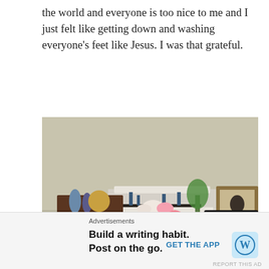the world and everyone is too nice to me and I just felt like getting down and washing everyone's feet like Jesus. I was that grateful.
[Figure (photo): Indoor group photo of five women sitting in a living room with a stone fireplace mantle decorated with seashells and candles in the background, shelving unit with decorative items on the left, and a framed picture on the right.]
Advertisements
Build a writing habit. Post on the go.
GET THE APP